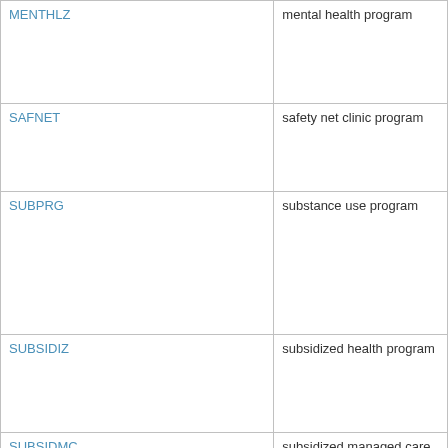| Code | Description |
| --- | --- |
| MENTHLZ | mental health program |
| SAFNET | safety net clinic program |
| SUBPRG | substance use program |
| SUBSIDIZ | subsidized health program |
| SUBSIDMC | subsidized managed care program |